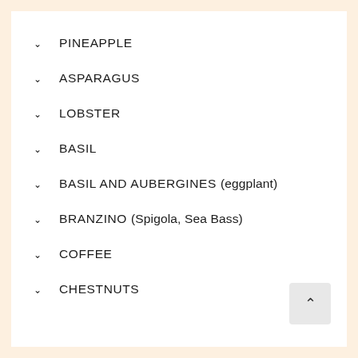PINEAPPLE
ASPARAGUS
LOBSTER
BASIL
BASIL AND AUBERGINES (eggplant)
BRANZINO (Spigola, Sea Bass)
COFFEE
CHESTNUTS